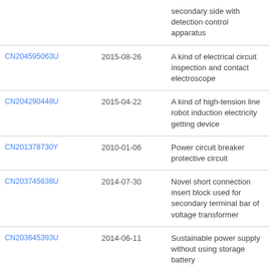| Patent ID | Date | Description |
| --- | --- | --- |
|  |  | secondary side with detection control apparatus |
| CN204595063U | 2015-08-26 | A kind of electrical circuit inspection and contact electroscope |
| CN204290448U | 2015-04-22 | A kind of high-tension line robot induction electricity getting device |
| CN201378730Y | 2010-01-06 | Power circuit breaker protective circuit |
| CN203745638U | 2014-07-30 | Novel short connection insert block used for secondary terminal bar of voltage transformer |
| CN203645393U | 2014-06-11 | Sustainable power supply without using storage battery |
| CN207663015U | 2018-07-27 | Low-voltage circuit breaker temperature characteristic experimental rig |